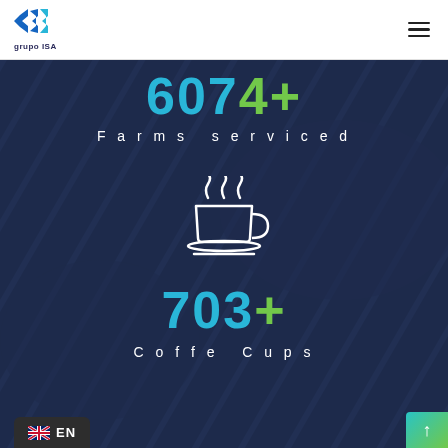[Figure (logo): Grupo ISA logo: blue angular arrow/chevron icon above text 'grupo ISA']
grupo ISA
6074+
Farms serviced
[Figure (illustration): White outline icon of a steaming coffee cup on a saucer with steam swirls above]
703+
Coffe Cups
EN